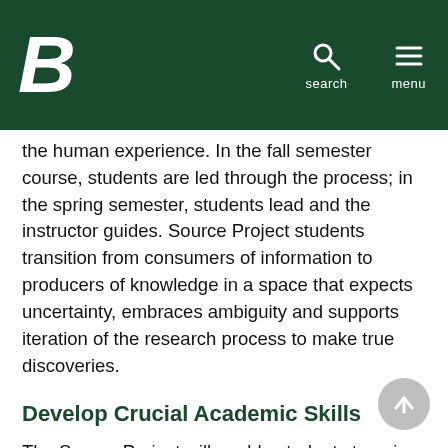Boise State University — search / menu navigation header
the human experience. In the fall semester course, students are led through the process; in the spring semester, students lead and the instructor guides. Source Project students transition from consumers of information to producers of knowledge in a space that expects uncertainty, embraces ambiguity and supports iteration of the research process to make true discoveries.
Develop Crucial Academic Skills
The Source Project will enable students to gain academic skills that will be the foundation of their undergraduate education and their life in general. By moving through the research process, students will be guided towards higher-order cognitive skills, from remembering and